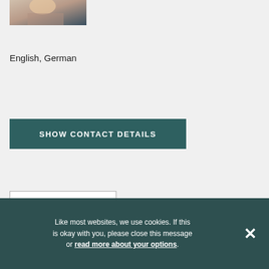[Figure (photo): Partial photo of a person (cropped at top), showing blonde hair and partial face, with dark background]
English, German
SHOW CONTACT DETAILS
SHORTLIST
Like most websites, we use cookies. If this is okay with you, please close this message or read more about your options.